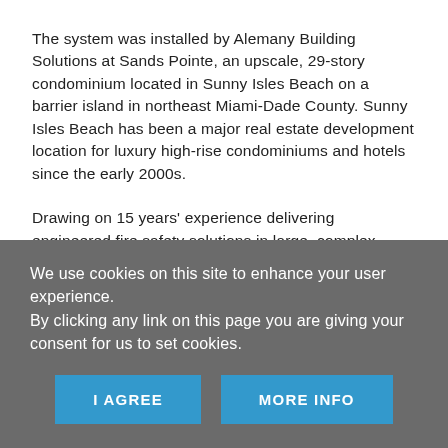The system was installed by Alemany Building Solutions at Sands Pointe, an upscale, 29-story condominium located in Sunny Isles Beach on a barrier island in northeast Miami-Dade County. Sunny Isles Beach has been a major real estate development location for luxury high-rise condominiums and hotels since the early 2000s.
Drawing on 15 years' experience delivering engineered fire safety solutions in large, complex developments, Alemany Building Solutions specified Advanced's Axis AX fire system for this high-profile development as the customer specification called for a robust, technically
We use cookies on this site to enhance your user experience.
By clicking any link on this page you are giving your consent for us to set cookies.